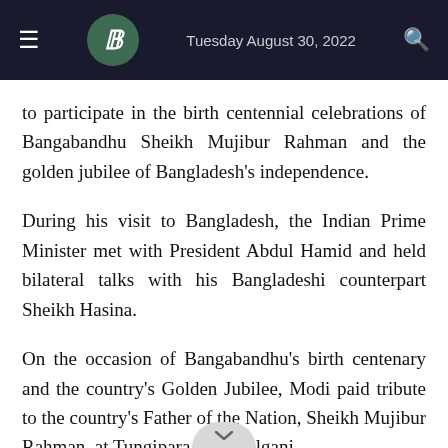Tuesday August 30, 2022
to participate in the birth centennial celebrations of Bangabandhu Sheikh Mujibur Rahman and the golden jubilee of Bangladesh's independence.
During his visit to Bangladesh, the Indian Prime Minister met with President Abdul Hamid and held bilateral talks with his Bangladeshi counterpart Sheikh Hasina.
On the occasion of Bangabandhu's birth centenary and the country's Golden Jubilee, Modi paid tribute to the country's Father of the Nation, Sheikh Mujibur Rahman, at Tungipara in Gopalganj.